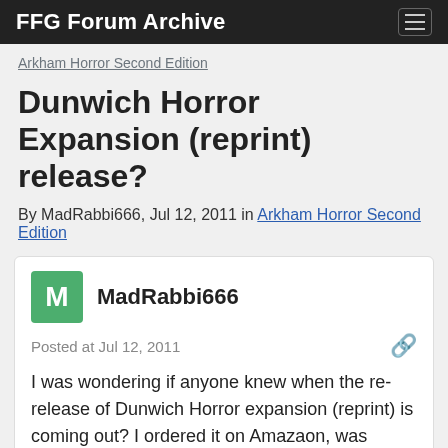FFG Forum Archive
Arkham Horror Second Edition
Dunwich Horror Expansion (reprint) release?
By MadRabbi666, Jul 12, 2011 in Arkham Horror Second Edition
MadRabbi666
Posted at Jul 12, 2011
I was wondering if anyone knew when the re-release of Dunwich Horror expansion (reprint) is coming out? I ordered it on Amazaon, was suppose to get it in early June, and wasn't notified that it was a reprint. So if anyone can let me know in regards of its release I would really appreciate it, because I'm getting no notification of its